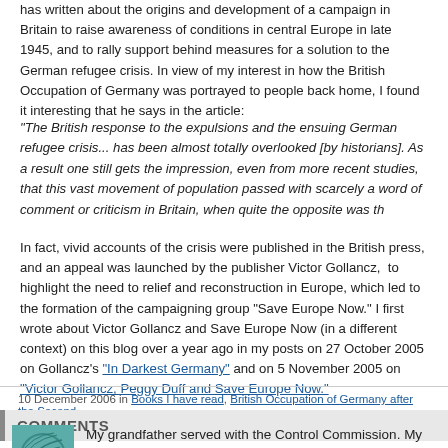has written about the origins and development of a campaign in Britain to raise awareness of conditions in central Europe in late 1945, and to rally support behind measures for a solution to the German refugee crisis. In view of my interest in how the British Occupation of Germany was portrayed to people back home, I found it interesting that he says in the article:
"The British response to the expulsions and the ensuing German refugee crisis... has been almost totally overlooked [by historians]. As a result one still gets the impression, even from more recent studies, that this vast movement of population passed with scarcely a word of comment or criticism in Britain, when quite the opposite was th...
In fact, vivid accounts of the crisis were published in the British press, and an appeal was launched by the publisher Victor Gollancz, to highlight the need to relief and reconstruction in Europe, which led to the formation of the campaigning group "Save Europe Now." I first wrote about Victor Gollancz and Save Europe Now (in a different context) on this blog over a year ago in my posts on 27 October 2005 on Gollancz's "In Darkest Germany" and on 5 November 2005 on "Victor Gollancz, Peggy Duff and Save Europe Now."
10 December 2006 in Books I have read, British Occupation of Germany after the Second...
COMMENTS
My grandfather served with the Control Commission. My family have... information of what role or tasks he was likely to perform. Any info...